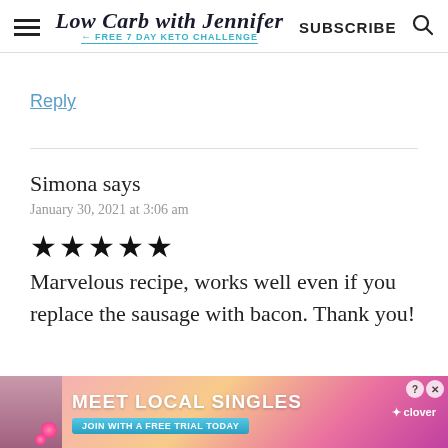Low Carb with Jennifer | FREE 7 DAY KETO CHALLENGE | SUBSCRIBE
Reply
Simona says
January 30, 2021 at 3:06 am
★★★★★
Marvelous recipe, works well even if you replace the sausage with bacon. Thank you!
[Figure (screenshot): Advertisement banner: Meet Local Singles - Join With a Free Trial Today - Clover dating app ad with woman photo]